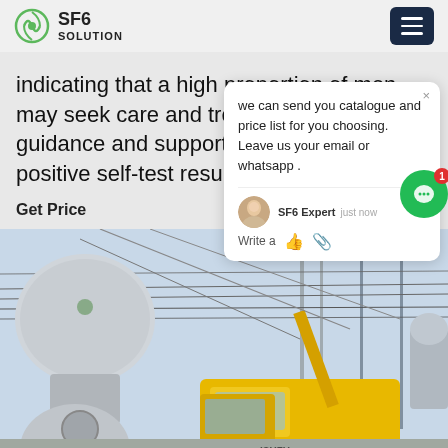SF6 SOLUTION
indicating that a high proportion of men may seek care and treatment with proper guidance and support after receiving a positive self-test result.
Get Price
we can send you catalogue and price list for you choosing. Leave us your email or whatsapp . SF6 Expert   just now   Write a
[Figure (photo): Outdoor industrial electrical substation scene with SF6 equipment and a yellow ISUZU crane/utility truck. Power transmission lines and towers visible in background. Workers and heavy equipment operating at the site.]